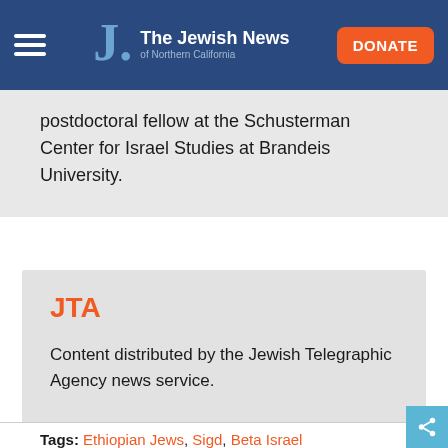The Jewish News of Northern California
postdoctoral fellow at the Schusterman Center for Israel Studies at Brandeis University.
JTA
Content distributed by the Jewish Telegraphic Agency news service.
Tags: Ethiopian Jews, Sigd, Beta Israel